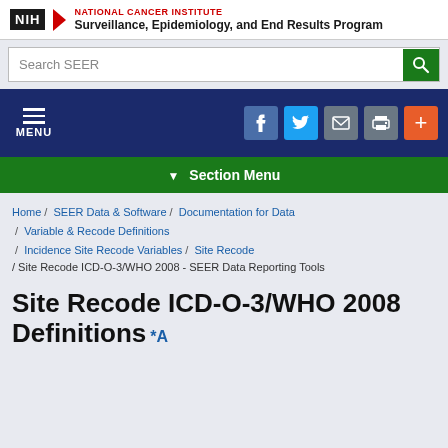NIH National Cancer Institute Surveillance, Epidemiology, and End Results Program
Search SEER
MENU
Section Menu
Home / SEER Data & Software / Documentation for Data / Variable & Recode Definitions / Incidence Site Recode Variables / Site Recode / Site Recode ICD-O-3/WHO 2008 - SEER Data Reporting Tools
Site Recode ICD-O-3/WHO 2008 Definitions *A